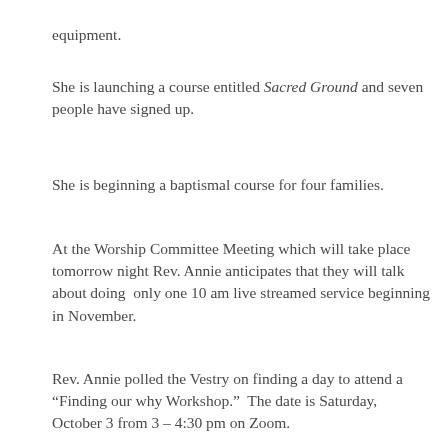equipment.
She is launching a course entitled Sacred Ground and seven people have signed up.
She is beginning a baptismal course for four families.
At the Worship Committee Meeting which will take place tomorrow night Rev. Annie anticipates that they will talk about doing  only one 10 am live streamed service beginning in November.
Rev. Annie polled the Vestry on finding a day to attend a “Finding our why Workshop.”  The date is Saturday, October 3 from 3 – 4:30 pm on Zoom.